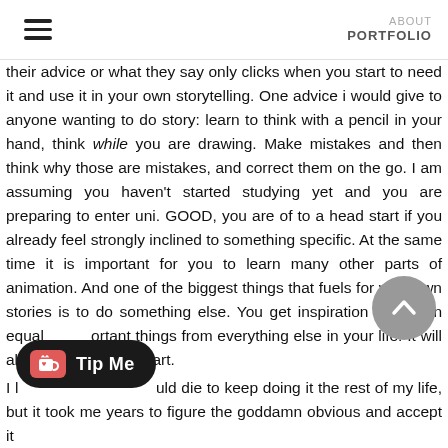ABOUT  PORTFOLIO
their advice or what they say only clicks when you start to need it and use it in your own storytelling. One advice i would give to anyone wanting to do story: learn to think with a pencil in your hand, think while you are drawing. Make mistakes and then think why those are mistakes, and correct them on the go. I am assuming you haven't started studying yet and you are preparing to enter uni. GOOD, you are of to a head start if you already feel strongly inclined to something specific. At the same time it is important for you to learn many other parts of animation. And one of the biggest things that fuels for your own stories is to do something else. You get inspiration and learn equal important things from everything else in your life. It will always on your art.
I l[...] uld die to keep doing it the rest of my life, but it took me years to figure the goddamn obvious and accept it